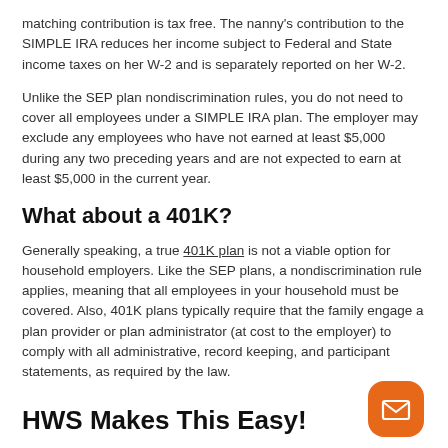matching contribution is tax free. The nanny's contribution to the SIMPLE IRA reduces her income subject to Federal and State income taxes on her W-2 and is separately reported on her W-2.
Unlike the SEP plan nondiscrimination rules, you do not need to cover all employees under a SIMPLE IRA plan. The employer may exclude any employees who have not earned at least $5,000 during any two preceding years and are not expected to earn at least $5,000 in the current year.
What about a 401K?
Generally speaking, a true 401K plan is not a viable option for household employers. Like the SEP plans, a nondiscrimination rule applies, meaning that all employees in your household must be covered. Also, 401K plans typically require that the family engage a plan provider or plan administrator (at cost to the employer) to comply with all administrative, record keeping, and participant statements, as required by the law.
HWS Makes This Easy!